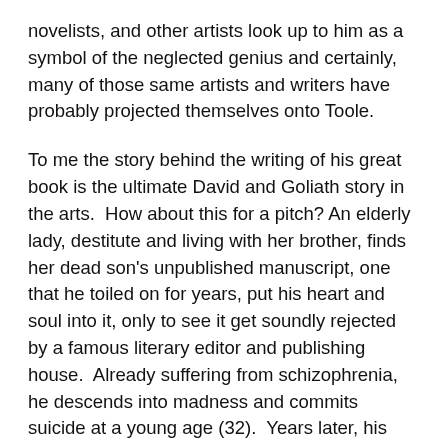novelists, and other artists look up to him as a symbol of the neglected genius and certainly, many of those same artists and writers have probably projected themselves onto Toole.
To me the story behind the writing of his great book is the ultimate David and Goliath story in the arts.  How about this for a pitch? An elderly lady, destitute and living with her brother, finds her dead son's unpublished manuscript, one that he toiled on for years, put his heart and soul into it, only to see it get soundly rejected by a famous literary editor and publishing house.  Already suffering from schizophrenia, he descends into madness and commits suicide at a young age (32).  Years later, his mother, after discovering the novel, gets it into the hands of a famous writer who champions it to publication and then it wins the Pulitzer Prize for fiction.  I mean, you couldn't script a